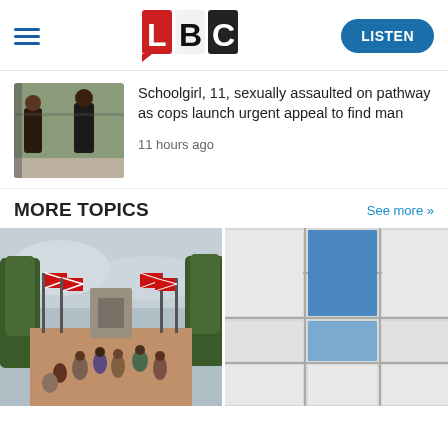LBC — LISTEN
[Figure (photo): CCTV-style photo of two people on a pathway, used as news thumbnail for sexual assault story]
Schoolgirl, 11, sexually assaulted on pathway as cops launch urgent appeal to find man
11 hours ago
MORE TOPICS
See more >>
[Figure (photo): The Mall in London lined with Union Jack flags, crowds of people walking]
[Figure (photo): Close-up of a modern building facade with white panels and a blue window panel]